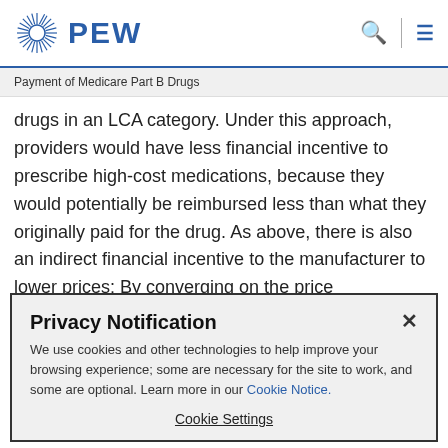PEW
Payment of Medicare Part B Drugs
drugs in an LCA category. Under this approach, providers would have less financial incentive to prescribe high-cost medications, because they would potentially be reimbursed less than what they originally paid for the drug. As above, there is also an indirect financial incentive to the manufacturer to lower prices: By converging on the price
Privacy Notification
We use cookies and other technologies to help improve your browsing experience; some are necessary for the site to work, and some are optional. Learn more in our Cookie Notice.
Cookie Settings